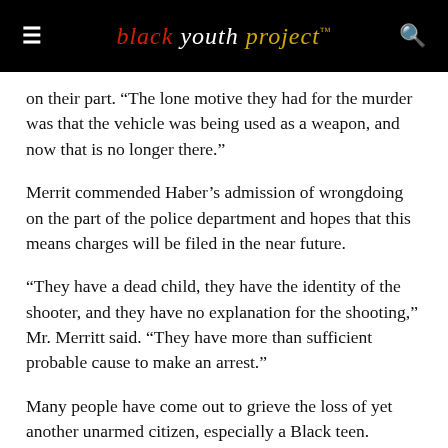black youth project™
on their part. “The lone motive they had for the murder was that the vehicle was being used as a weapon, and now that is no longer there.”
Merrit commended Haber’s admission of wrongdoing on the part of the police department and hopes that this means charges will be filed in the near future.
“They have a dead child, they have the identity of the shooter, and they have no explanation for the shooting,” Mr. Merritt said. “They have more than sufficient probable cause to make an arrest.”
Many people have come out to grieve the loss of yet another unarmed citizen, especially a Black teen. However, the